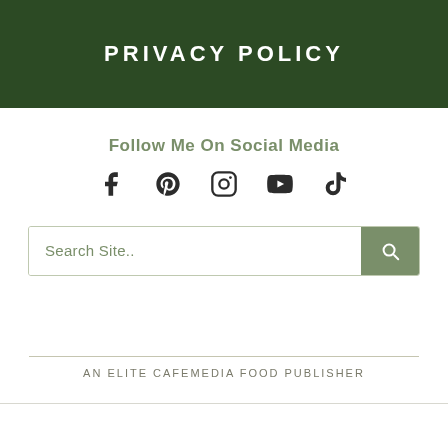PRIVACY POLICY
Follow Me On Social Media
[Figure (other): Social media icons: Facebook, Pinterest, Instagram, YouTube, TikTok]
Search Site..
AN ELITE CAFEMEDIA FOOD PUBLISHER